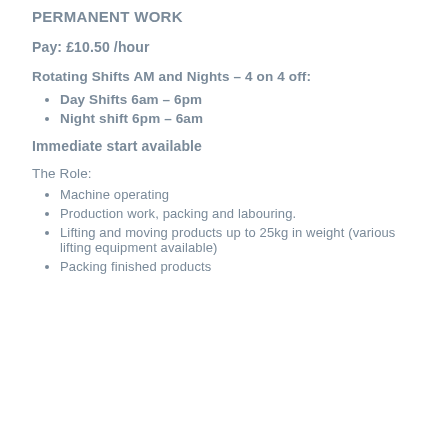PERMANENT WORK
Pay: £10.50 /hour
Rotating Shifts AM and Nights – 4 on 4 off:
Day Shifts 6am – 6pm
Night shift 6pm – 6am
Immediate start available
The Role:
Machine operating
Production work, packing and labouring.
Lifting and moving products up to 25kg in weight (various lifting equipment available)
Packing finished products